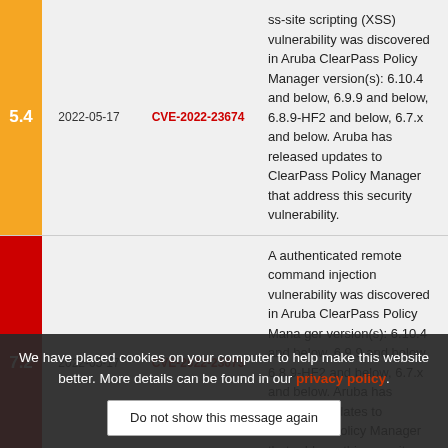| Score | Date | CVE | Description |
| --- | --- | --- | --- |
| 5.4 | 2022-05-17 | CVE-2022-23674 | ss-site scripting (XSS) vulnerability was discovered in Aruba ClearPass Policy Manager version(s): 6.10.4 and below, 6.9.9 and below, 6.8.9-HF2 and below, 6.7.x and below. Aruba has released updates to ClearPass Policy Manager that address this security vulnerability. |
| 7.2 | 2022-05-17 | CVE-2022-23673 | A authenticated remote command injection vulnerability was discovered in Aruba ClearPass Policy Manager version(s): 6.10.4 and below, 6.9.9 and below, 6.8.9-HF2 and below, 6.7.x and below. Aruba has released updates to ClearPass Policy Manager that address this security vulnerability. |
We have placed cookies on your computer to help make this website better. More details can be found in our privacy policy. Do not show this message again